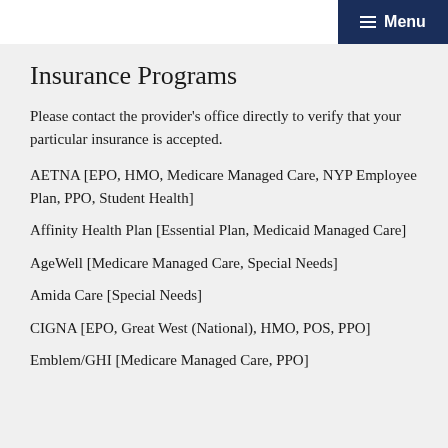Menu
Insurance Programs
Please contact the provider's office directly to verify that your particular insurance is accepted.
AETNA [EPO, HMO, Medicare Managed Care, NYP Employee Plan, PPO, Student Health]
Affinity Health Plan [Essential Plan, Medicaid Managed Care]
AgeWell [Medicare Managed Care, Special Needs]
Amida Care [Special Needs]
CIGNA [EPO, Great West (National), HMO, POS, PPO]
Emblem/GHI [Medicare Managed Care, PPO]